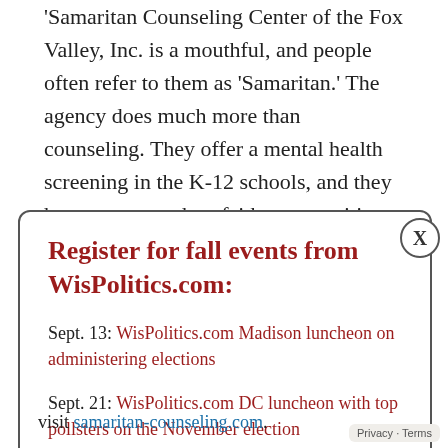Samaritan Counseling Center of the Fox Valley, Inc. is a mouthful, and people often refer to them as 'Samaritan.' The agency does much more than counseling. They offer a mental health screening in the K-12 schools, and they have an outreach to faith communities that are often overlooked
Register for fall events from WisPolitics.com:
Sept. 13: WisPolitics.com Madison luncheon on administering elections
Sept. 21: WisPolitics.com DC luncheon with top pollsters on the November election
Sept. 29: Annual WisPolitics.com Midwest Polling Summit
Oct. 18: WisPolitics.com Madison luncheon on top legislative races
visit samaritan-counseling.com.